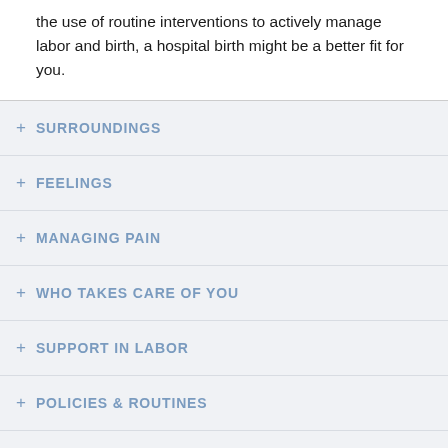the use of routine interventions to actively manage labor and birth, a hospital birth might be a better fit for you.
+ SURROUNDINGS
+ FEELINGS
+ MANAGING PAIN
+ WHO TAKES CARE OF YOU
+ SUPPORT IN LABOR
+ POLICIES & ROUTINES
+ INTERVENTION RATES
+ SAFETY
+ CONTINUITY OF CARE
+ GETTING THERE & TRANSFER
+ PRENATAL CARE
+ AFTER DELIVERY
+ COST